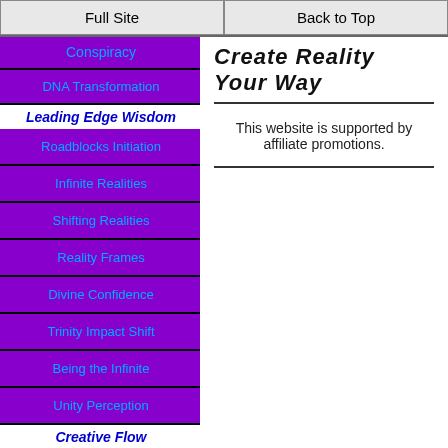Full Site | Back to Top
Conspiracy
DNA Transformation
Leading Edge Wisdom
Roadblocks Initiation
Infinite Realities
Shifting Realities
Reality Frames
Divine Confidence
Trinity Impact Shift
Being the Infinite
Unity Perception
Creative Flow
Infinite Words
Powerful Quotes
Create Reality Your Way
This website is supported by affiliate promotions.